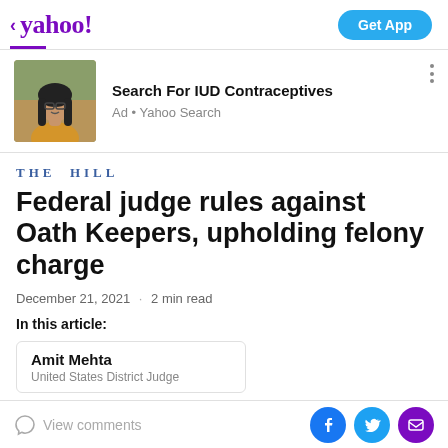< yahoo!   Get App
[Figure (photo): Advertisement photo of a young woman with long dark hair and glasses, wearing a yellow/mustard top, outdoors]
Search For IUD Contraceptives
Ad • Yahoo Search
THE HILL
Federal judge rules against Oath Keepers, upholding felony charge
December 21, 2021 · 2 min read
In this article:
Amit Mehta
United States District Judge
View comments